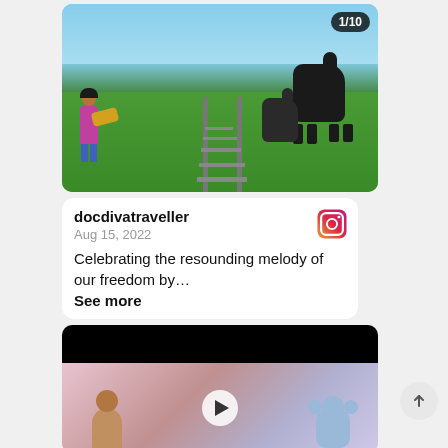[Figure (photo): A person sitting and playing guitar on railway tracks outdoors with horses on green grass in the background. Counter badge showing 1/10 in top right.]
docdivatraveller
Aug 15, 2022

Celebrating the resounding melody of our freedom by…
See more
[Figure (screenshot): Video thumbnail showing a child with a stuffed bear toy, with a play button overlay. Black bar above.]